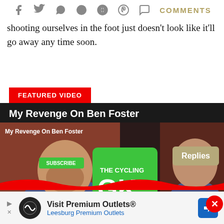Social icons: Facebook, Twitter, WhatsApp, Reddit, Pinterest, Comments
shooting ourselves in the foot just doesn't look like it'll go away any time soon.
FEATURED VIDEO
[Figure (screenshot): Featured video block titled 'My Revenge On Ben Foster' showing a YouTube video thumbnail with two men and The Cycling GK logo. A 'Replies' button is shown top right of the thumbnail.]
[Figure (other): Advertisement: Visit Premium Outlets® / Leesburg Premium Outlets with logo and navigation icon]